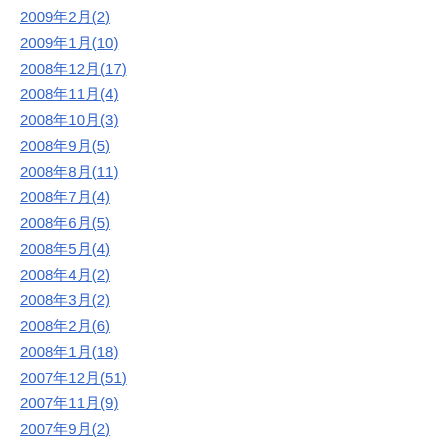2009年2月(2)
2009年1月(10)
2008年12月(17)
2008年11月(4)
2008年10月(3)
2008年9月(5)
2008年8月(11)
2008年7月(4)
2008年6月(5)
2008年5月(4)
2008年4月(2)
2008年3月(2)
2008年2月(6)
2008年1月(18)
2007年12月(51)
2007年11月(9)
2007年9月(2)
2007年8月(27)
2007年7月(1)
2007年5月(8)
2006年12月(12)
前へ